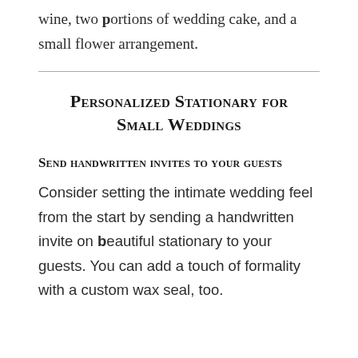wine, two portions of wedding cake, and a small flower arrangement.
Personalized Stationary for Small Weddings
Send handwritten invites to your guests
Consider setting the intimate wedding feel from the start by sending a handwritten invite on beautiful stationary to your guests. You can add a touch of formality with a custom wax seal, too.